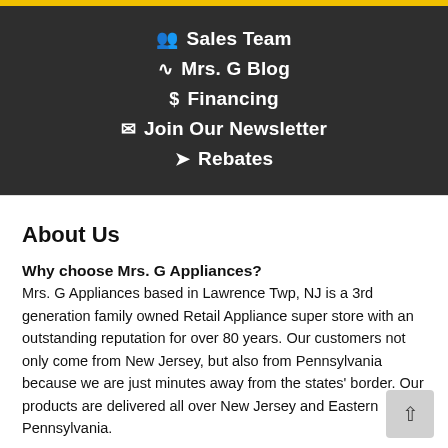Sales Team
Mrs. G Blog
Financing
Join Our Newsletter
Rebates
About Us
Why choose Mrs. G Appliances?
Mrs. G Appliances based in Lawrence Twp, NJ is a 3rd generation family owned Retail Appliance super store with an outstanding reputation for over 80 years. Our customers not only come from New Jersey, but also from Pennsylvania because we are just minutes away from the states' border. Our products are delivered all over New Jersey and Eastern Pennsylvania.
Mrs. G Appliances has outperformed its competition for over 80 years, outlasting retail chains like Crazy Eddie, Dee's, Tops, American Appliance and Circuit City. Our new 25,000 sq ft location